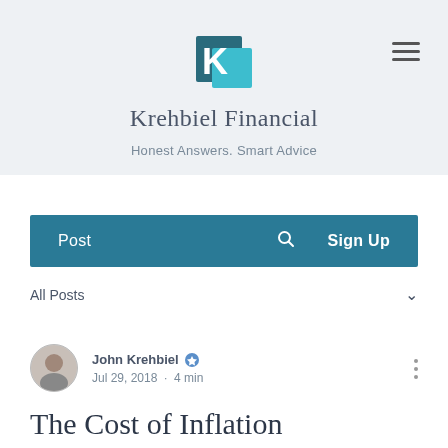[Figure (logo): Krehbiel Financial logo — teal/dark teal K letter mark]
Krehbiel Financial
Honest Answers. Smart Advice
Post  🔍  Sign Up
All Posts
John Krehbiel · Jul 29, 2018 · 4 min
The Cost of Inflation